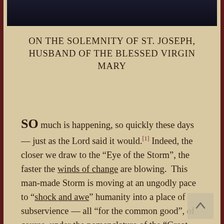[Figure (photo): Dark image at top of page, appears to be a dark/night scene, partially visible]
ON THE SOLEMNITY OF ST. JOSEPH, HUSBAND OF THE BLESSED VIRGIN MARY
SO much is happening, so quickly these days — just as the Lord said it would.[1] Indeed, the closer we draw to the “Eye of the Storm”, the faster the winds of change are blowing. This man-made Storm is moving at an ungodly pace to “shock and awe” humanity into a place of subservience — all “for the common good”, of course, under the nomenclature of the “Great Reset” in order to “build back better.” The